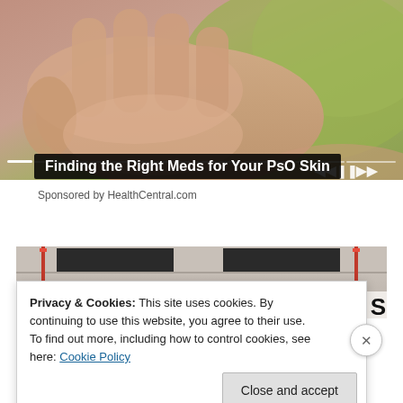[Figure (photo): Close-up photo of hands with green background, used as video thumbnail for a health-related slideshow about psoriasis skin medications. Media player controls visible at bottom.]
Finding the Right Meds for Your PsO Skin
Sponsored by HealthCentral.com
[Figure (photo): Partial photo of Social Security Administration building exterior with text SOCIAL SECURITY ADMINISTRATION visible on facade.]
Privacy & Cookies: This site uses cookies. By continuing to use this website, you agree to their use.
To find out more, including how to control cookies, see here: Cookie Policy
Close and accept